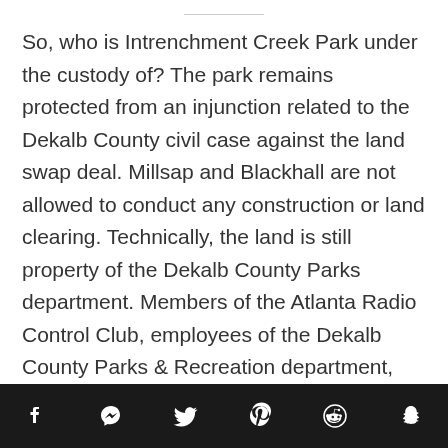So, who is Intrenchment Creek Park under the custody of? The park remains protected from an injunction related to the Dekalb County civil case against the land swap deal. Millsap and Blackhall are not allowed to conduct any construction or land clearing. Technically, the land is still property of the Dekalb County Parks department. Members of the Atlanta Radio Control Club, employees of the Dekalb County Parks & Recreation department, and someone associated with Blackhall Studios all stated via phone that they were not aware of any planned destruction and did not know what the bulldozer could be for. The police and workers seemed unclear what they had been contracted to do, exactly, who they had been contracted to do it
Social share bar: Facebook, Messenger, Twitter, Pinterest, Reddit, Snapchat